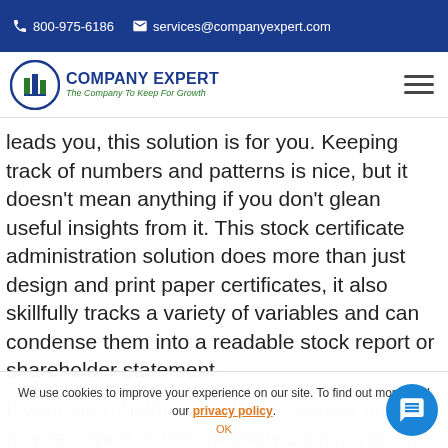800-975-6186   services@companyexpert.com
[Figure (logo): Company Expert logo with green building icon and tagline 'The Company To Keep For Growth']
leads you, this solution is for you. Keeping track of numbers and patterns is nice, but it doesn't mean anything if you don't glean useful insights from it. This stock certificate administration solution does more than just design and print paper certificates, it also skillfully tracks a variety of variables and can condense them into a readable stock report or shareholder statement.
If your shareholders or clients request an end-of-year report of the company's stock you can easily log d… generate an accurate report in a matter of minutes.
We use cookies to improve your experience on our site. To find out more read our privacy policy.